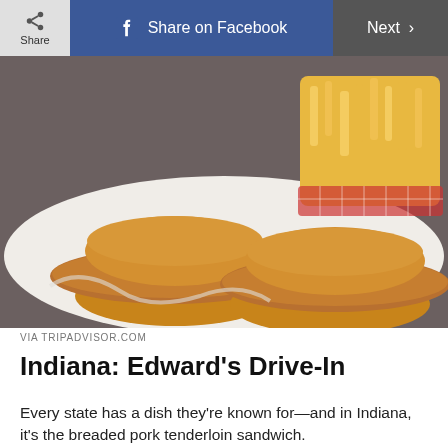Share | Share on Facebook | Next >
[Figure (photo): Two breaded pork tenderloin sandwiches on white paper with a red-checkered basket of crinkle-cut french fries in the background, served on a tray.]
VIA TRIPADVISOR.COM
Indiana: Edward's Drive-In
Every state has a dish they're known for—and in Indiana, it's the breaded pork tenderloin sandwich. That's not just a bold claim—it's...